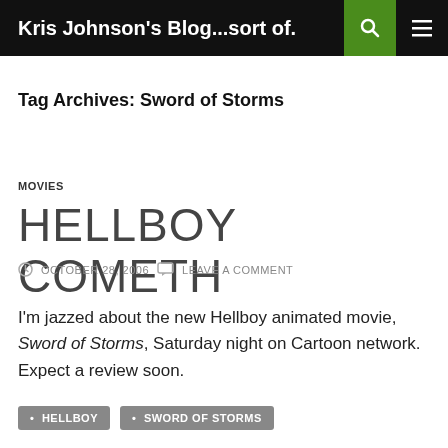Kris Johnson's Blog...sort of.
Tag Archives: Sword of Storms
MOVIES
HELLBOY COMETH
OCTOBER 28, 2006   LEAVE A COMMENT
I'm jazzed about the new Hellboy animated movie, Sword of Storms, Saturday night on Cartoon network. Expect a review soon.
HELLBOY
SWORD OF STORMS